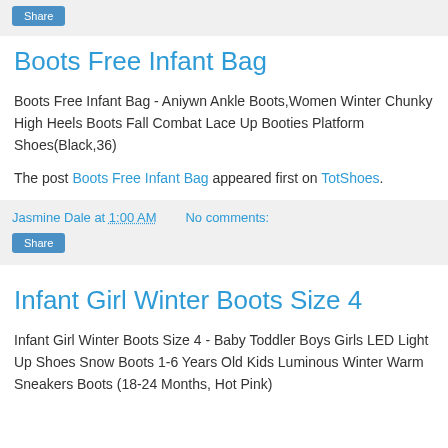Share
Boots Free Infant Bag
Boots Free Infant Bag - Aniywn Ankle Boots,Women Winter Chunky High Heels Boots Fall Combat Lace Up Booties Platform Shoes(Black,36)
The post Boots Free Infant Bag appeared first on TotShoes.
Jasmine Dale at 1:00 AM   No comments:
Share
Infant Girl Winter Boots Size 4
Infant Girl Winter Boots Size 4 - Baby Toddler Boys Girls LED Light Up Shoes Snow Boots 1-6 Years Old Kids Luminous Winter Warm Sneakers Boots (18-24 Months, Hot Pink)